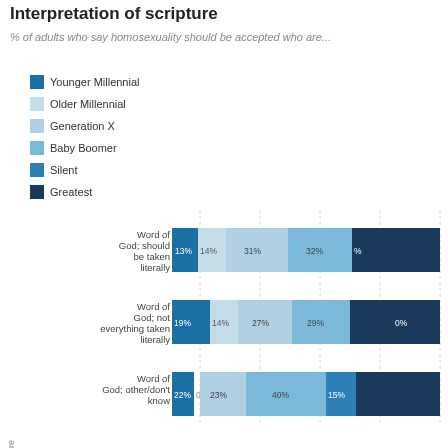Interpretation of scripture
% of adults who say homosexuality should be accepted who are...
Younger Millennial
Older Millennial
Generation X
Baby Boomer
Silent
Greatest
[Figure (stacked-bar-chart): Interpretation of scripture]